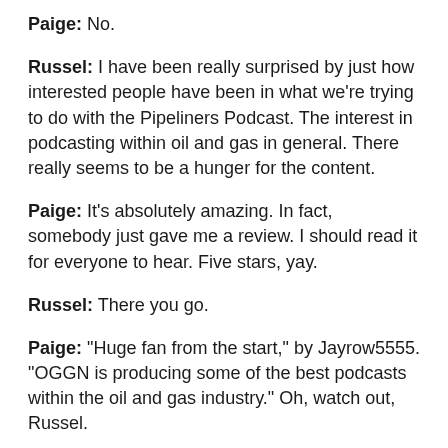Paige: No.
Russel: I have been really surprised by just how interested people have been in what we're trying to do with the Pipeliners Podcast. The interest in podcasting within oil and gas in general. There really seems to be a hunger for the content.
Paige: It's absolutely amazing. In fact, somebody just gave me a review. I should read it for everyone to hear. Five stars, yay.
Russel: There you go.
Paige: “Huge fan from the start,” by Jayrow5555. “OGGN is producing some of the best podcasts within the oil and gas industry.” Oh, watch out, Russel.